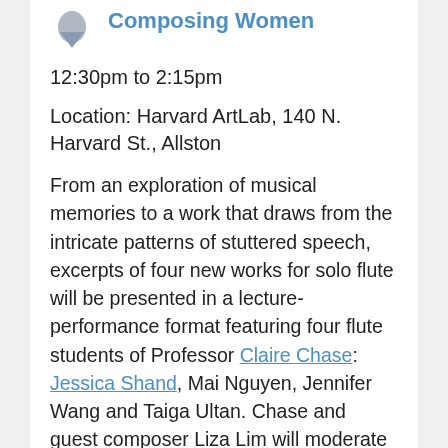Composing Women
12:30pm to 2:15pm
Location: Harvard ArtLab, 140 N. Harvard St., Allston
From an exploration of musical memories to a work that draws from the intricate patterns of stuttered speech, excerpts of four new works for solo flute will be presented in a lecture-performance format featuring four flute students of Professor Claire Chase: Jessica Shand, Mai Nguyen, Jennifer Wang and Taiga Ultan. Chase and guest composer Liza Lim will moderate a